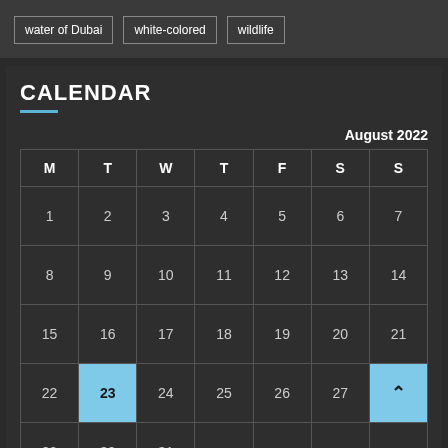water of Dubai
white-colored
wildlife
CALENDAR
August 2022
| M | T | W | T | F | S | S |
| --- | --- | --- | --- | --- | --- | --- |
| 1 | 2 | 3 | 4 | 5 | 6 | 7 |
| 8 | 9 | 10 | 11 | 12 | 13 | 14 |
| 15 | 16 | 17 | 18 | 19 | 20 | 21 |
| 22 | 23 | 24 | 25 | 26 | 27 | ^ |
| 29 | 30 | 31 |  |  |  |  |